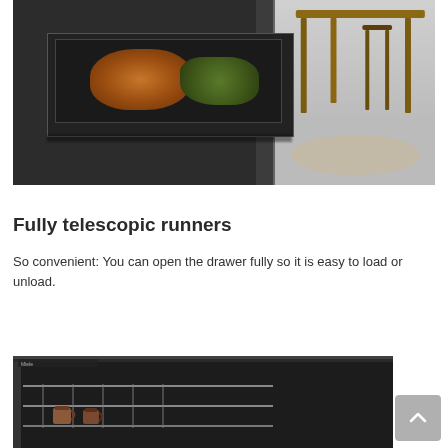[Figure (photo): A dark modern oven drawer pulled out fully, containing a roasting tray with a roast chicken and vegetables. The kitchen background shows a dining area with table and chairs on a light gray floor.]
Fully telescopic runners
So convenient: You can open the drawer fully so it is easy to load or unload.
[Figure (photo): Close-up of the interior of an oven with pulled-out shelves or drawer, showing cups or mugs on a rack inside a dark oven cavity.]